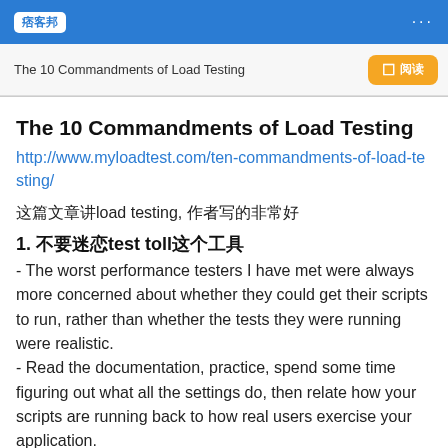痞客邦
The 10 Commandments of Load Testing  □ 阅读
The 10 Commandments of Load Testing
http://www.myloadtest.com/ten-commandments-of-load-testing/
这篇文章讲load testing, 作者写的非常好
1. 不要迷恋test toll这个工具
- The worst performance testers I have met were always more concerned about whether they could get their scripts to run, rather than whether the tests they were running were realistic.
- Read the documentation, practice, spend some time figuring out what all the settings do, then relate how your scripts are running back to how real users exercise your application.